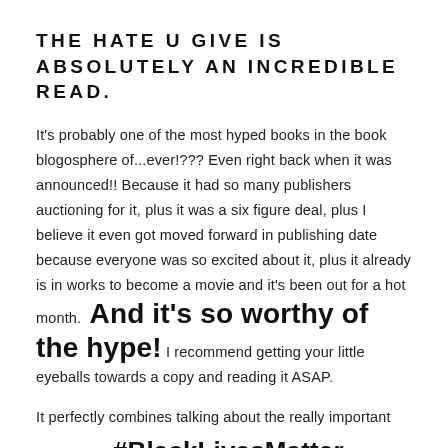THE HATE U GIVE IS ABSOLUTELY AN INCREDIBLE READ.
It's probably one of the most hyped books in the book blogosphere of...ever!??? Even right back when it was announced!! Because it had so many publishers auctioning for it, plus it was a six figure deal, plus I believe it even got moved forward in publishing date because everyone was so excited about it, plus it already is in works to become a movie and it's been out for a hot month. And it's so worthy of the hype! I recommend getting your little eyeballs towards a copy and reading it ASAP.
It perfectly combines talking about the really important topic of the #BlackLivesMatter movement with excellent storytelling, writing